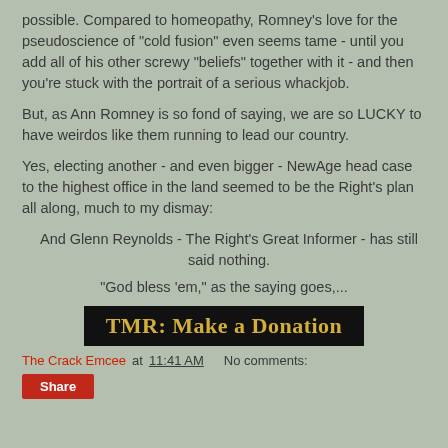possible. Compared to homeopathy, Romney's love for the pseudoscience of "cold fusion" even seems tame - until you add all of his other screwy "beliefs" together with it - and then you're stuck with the portrait of a serious whackjob.
But, as Ann Romney is so fond of saying, we are so LUCKY to have weirdos like them running to lead our country.
Yes, electing another - and even bigger - NewAge head case to the highest office in the land seemed to be the Right's plan all along, much to my dismay:
And Glenn Reynolds - The Right's Great Informer - has still said nothing.
"God bless 'em," as the saying goes,...
[Figure (other): Black button with gold/yellow text reading 'TMR: Make a Donation']
The Crack Emcee at 11:41 AM   No comments:
Share